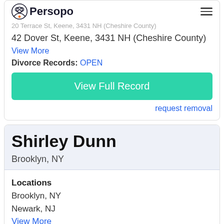Persopo
20 Terrace St, Keene, 3431 NH (Cheshire County)
42 Dover St, Keene, 3431 NH (Cheshire County)
View More
Divorce Records: OPEN
View Full Record
request removal
Shirley Dunn
Brooklyn, NY
Locations
Brooklyn, NY
Newark, NJ
View More
Address Details 3